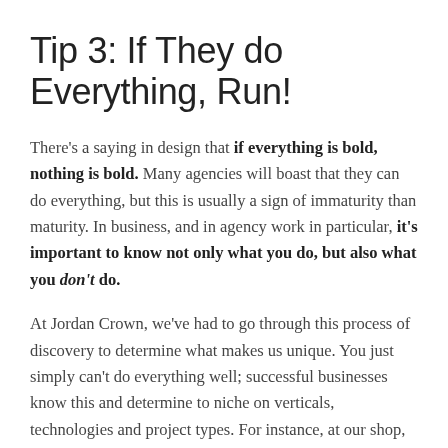Tip 3: If They do Everything, Run!
There's a saying in design that if everything is bold, nothing is bold. Many agencies will boast that they can do everything, but this is usually a sign of immaturity than maturity. In business, and in agency work in particular, it's important to know not only what you do, but also what you don't do.
At Jordan Crown, we've had to go through this process of discovery to determine what makes us unique. You just simply can't do everything well; successful businesses know this and determine to niche on verticals, technologies and project types. For instance, at our shop, we decided years ago